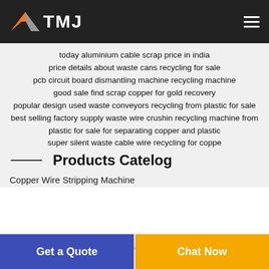TMJ
today aluminium cable scrap price in india
price details about waste cans recycling for sale
pcb circuit board dismantling machine recycling machine
good sale find scrap copper for gold recovery
popular design used waste conveyors recycling from plastic for sale
best selling factory supply waste wire crushin recycling machine from plastic for sale for separating copper and plastic
super silent waste cable wire recycling for coppe
Products Catelog
Copper Wire Stripping Machine
Get a Quote
Chat Now